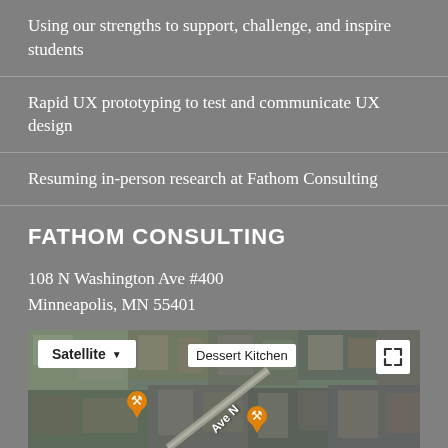Using our strengths to support, challenge, and inspire students
Rapid UX prototyping to test and communicate UX design
Resuming in-person research at Fathom Consulting
FATHOM CONSULTING
108 N Washington Ave #400
Minneapolis, MN 55401
612.677.0640
[Figure (map): Google Maps satellite view showing the location of Fathom Consulting at 108 N Washington Ave #400, Minneapolis, MN. Map shows aerial/satellite imagery with a 'Satellite' dropdown button, 'Dessert Kitchen' label, orange map pin markers, and a road labeled 'Ave N'. An expand button is visible in the top right corner.]